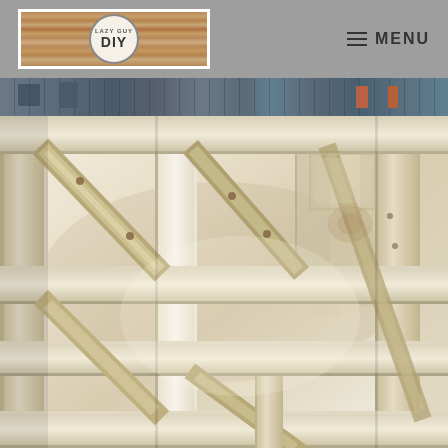Lazy Guy DIY — MENU
[Figure (photo): Close-up photograph of a wooden DIY shelf or wine rack structure under construction, showing light-colored pine wood slats, upright posts, and diagonal supports assembled in a workshop setting with pegboard in the background.]